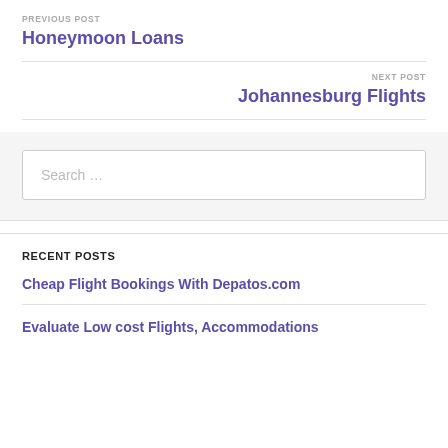PREVIOUS POST
Honeymoon Loans
NEXT POST
Johannesburg Flights
Search …
RECENT POSTS
Cheap Flight Bookings With Depatos.com
Evaluate Low cost Flights, Accommodations